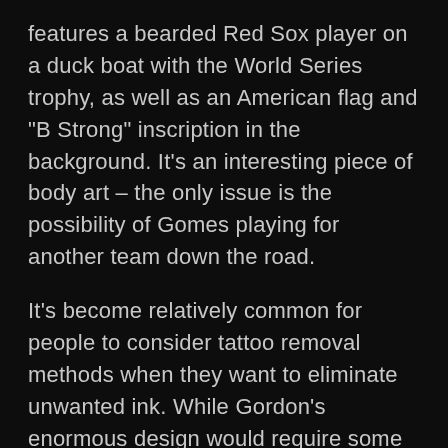features a bearded Red Sox player on a duck boat with the World Series trophy, as well as an American flag and "B Strong" inscription in the background. It's an interesting piece of body art – the only issue is the possibility of Gomes playing for another team down the road.
It's become relatively common for people to consider tattoo removal methods when they want to eliminate unwanted ink. While Gordon's enormous design would require some major work to get rid of, it's worth noting that the removal process can be